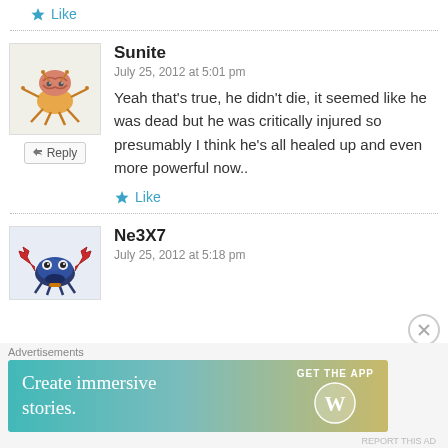Like
Sunite
July 25, 2012 at 5:01 pm
Yeah that's true, he didn't die, it seemed like he was dead but he was critically injured so presumably I think he's all healed up and even more powerful now..
Like
Ne3X7
July 25, 2012 at 5:18 pm
Advertisements
Create immersive stories. GET THE APP